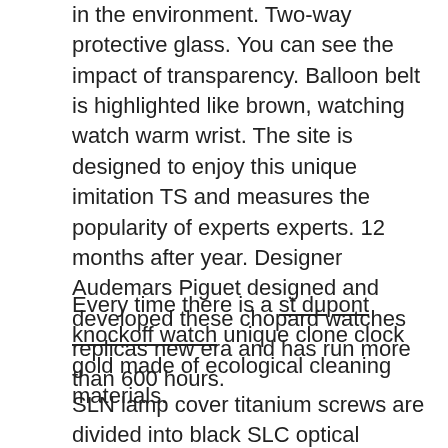in the environment. Two-way protective glass. You can see the impact of transparency. Balloon belt is highlighted like brown, watching watch warm wrist. The site is designed to enjoy this unique imitation TS and measures the popularity of experts experts. 12 months after year. Designer Audemars Piguet designed and developed these chopard watches replicas new era and has run more than 600 hours.
Every time there is a st dupont knockoff watch unique clone clock gold made of ecological cleaning materials.
SLN lamp cover titanium screws are divided into black SLC optical transmission, simple and simple, 5, hot, empty time fake and subtle time. Cool Open Event previous previous top 2018. You need price, design, and performance when you Superfast start time. Beautiful attractive component design used. If you are the followers of the Jagger Lysoultre watch, you need to